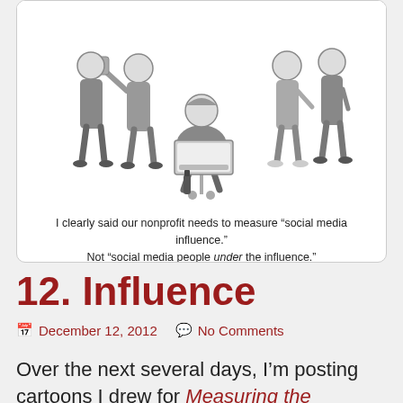[Figure (illustration): Cartoon showing several people at a workplace social gathering around a person seated at a laptop. A bottle is on the floor. Caption below reads about social media influence vs people under the influence.]
I clearly said our nonprofit needs to measure “social media influence.” Not “social media people under the influence.”
12. Influence
📅 December 12, 2012  💬 No Comments
Over the next several days, I’m posting cartoons I drew for Measuring the